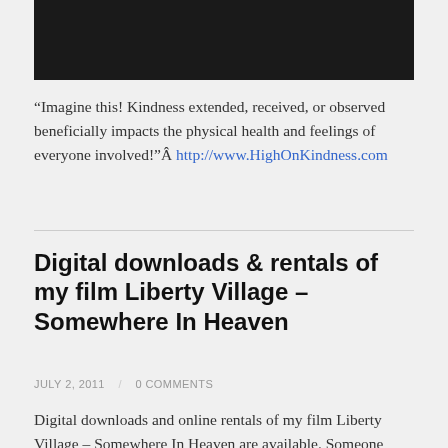[Figure (photo): Dark/black photograph image at the top of the page, partially cropped]
“Imagine this! Kindness extended, received, or observed beneficially impacts the physical health and feelings of everyone involved!”Â http://www.HighOnKindness.com
Digital downloads & rentals of my film Liberty Village – Somewhere In Heaven
JULY 2, 2011    0 COMMENTS
Digital downloads and online rentals of my film Liberty Village – Somewhere In Heaven are available. Someone